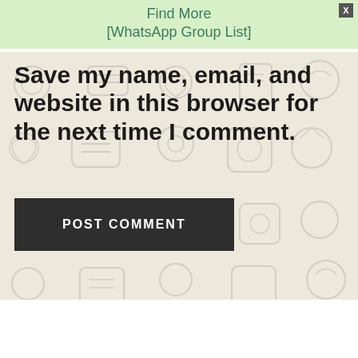Find More [WhatsApp Group List]
Save my name, email, and website in this browser for the next time I comment.
POST COMMENT